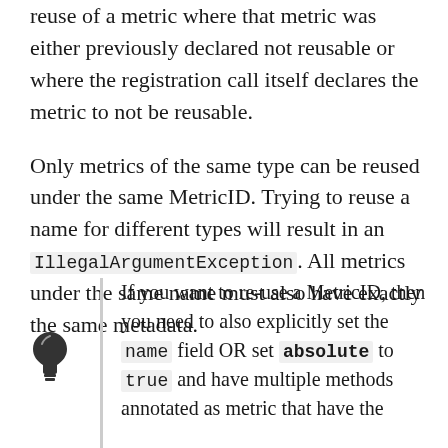reuse of a metric where that metric was either previously declared not reusable or where the registration call itself declares the metric to not be reusable.
Only metrics of the same type can be reused under the same MetricID. Trying to reuse a name for different types will result in an IllegalArgumentException. All metrics under the same name must also have exactly the same metadata.
If you want to re-use a MetricID, then you need to also explicitly set the name field OR set absolute to true and have multiple methods annotated as metric that have the